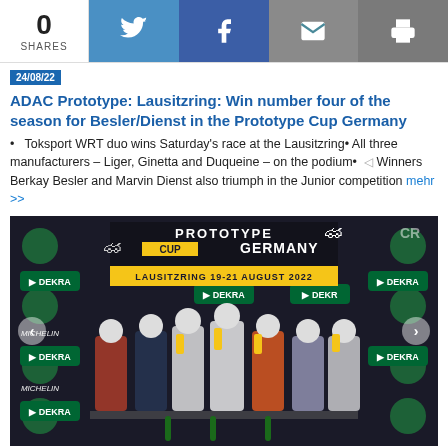0 SHARES
ADAC Prototype: Lausitzring: Win number four of the season for Besler/Dienst in the Prototype Cup Germany
Toksport WRT duo wins Saturday's race at the Lausitzring• All three manufacturers – Liger, Ginetta and Duqueine – on the podium• Winners Berkay Besler and Marvin Dienst also triumph in the Junior competition mehr >>
[Figure (photo): Podium photo at Prototype Cup Germany, Lausitzring 19-21 August 2022. Seven drivers in racing suits standing on a podium in front of a branded backdrop with PROTOTYPE CUP GERMANY banner, DEKRA logos, Michelin logos, and yellow LAUSITZRING 19-21 AUGUST 2022 banner.]